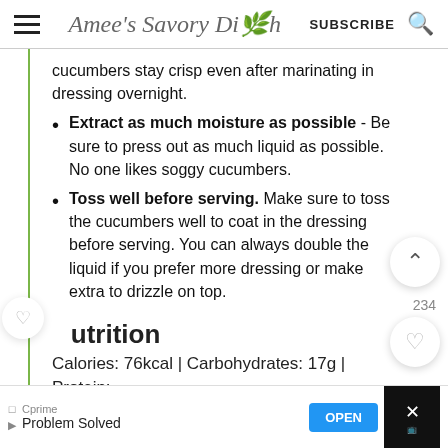Amee's Savory Dish  SUBSCRIBE
cucumbers stay crisp even after marinating in dressing overnight.
Extract as much moisture as possible - Be sure to press out as much liquid as possible. No one likes soggy cucumbers.
Toss well before serving. Make sure to toss the cucumbers well to coat in the dressing before serving. You can always double the liquid if you prefer more dressing or make extra to drizzle on top.
Nutrition
Calories: 76kcal | Carbohydrates: 17g | Protein: